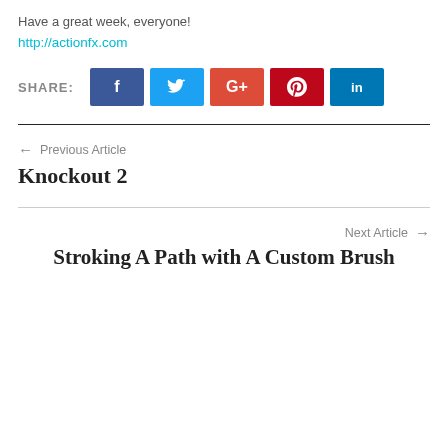Have a great week, everyone!
http://actionfx.com
[Figure (infographic): Share buttons row: SHARE: label followed by Facebook (dark blue), Twitter (light blue), Google+ (red-orange), Pinterest (dark red), LinkedIn (dark blue) social media buttons]
← Previous Article
Knockout 2
Next Article →
Stroking A Path with A Custom Brush